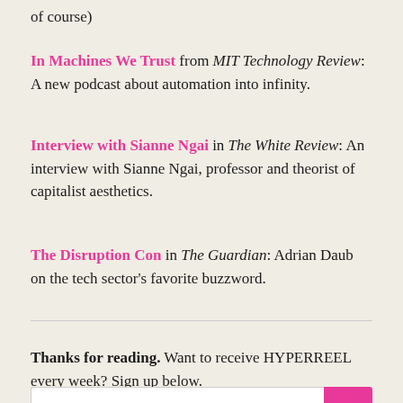of course)
In Machines We Trust from MIT Technology Review: A new podcast about automation into infinity.
Interview with Sianne Ngai in The White Review: An interview with Sianne Ngai, professor and theorist of capitalist aesthetics.
The Disruption Con in The Guardian: Adrian Daub on the tech sector's favorite buzzword.
Thanks for reading. Want to receive HYPERREEL every week? Sign up below.